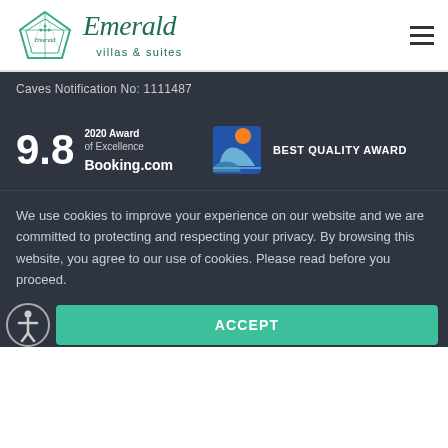[Figure (logo): Emerald Villas & Suites logo with diamond shape and italic script text]
Caves Notification No: 1111487
[Figure (infographic): 9.8 Booking.com 2020 Award of Excellence badge and Best Quality Award logo]
We use cookies to improve your experience on our website and we are committed to protecting and respecting your privacy. By browsing this website, you agree to our use of cookies. Please read before you proceed.
ACCEPT